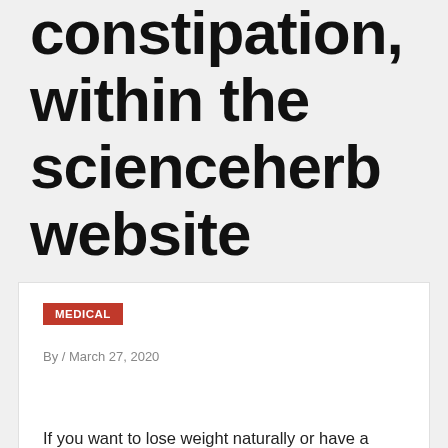constipation, within the scienceherb website
MEDICAL
By / March 27, 2020
If you want to lose weight naturally or have a hard epoch going to the bathroom regularly, the product offered upon the scienceherb website can support you. later (Psyllium husk Extract), you will be